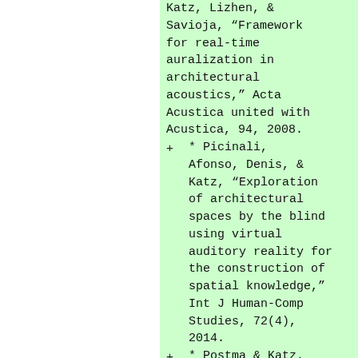Katz, Lizhen, & Savioja, "Framework for real-time auralization in architectural acoustics," Acta Acustica united with Acustica, 94, 2008.
* Picinali, Afonso, Denis, & Katz, "Exploration of architectural spaces by the blind using virtual auditory reality for the construction of spatial knowledge," Int J Human-Comp Studies, 72(4), 2014.
* Postma & Katz.